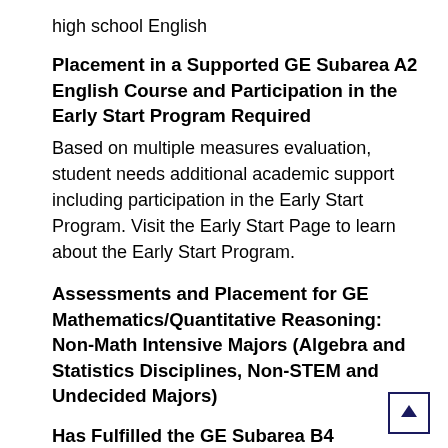high school English
Placement in a Supported GE Subarea A2 English Course and Participation in the Early Start Program Required
Based on multiple measures evaluation, student needs additional academic support including participation in the Early Start Program. Visit the Early Start Page to learn about the Early Start Program.
Assessments and Placement for GE Mathematics/Quantitative Reasoning: Non-Math Intensive Majors (Algebra and Statistics Disciplines, Non-STEM and Undecided Majors)
Has Fulfilled the GE Subarea B4 Math/Quantitative Reasoning Requirement